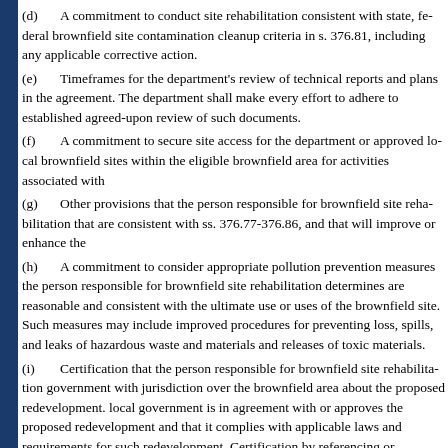(d)   A commitment to conduct site rehabilitation consistent with state, federal brownfield site contamination cleanup criteria in s. 376.81, including any applicable corrective action.
(e)   Timeframes for the department’s review of technical reports and plans in the agreement. The department shall make every effort to adhere to established and agreed-upon review of such documents.
(f)   A commitment to secure site access for the department or approved local brownfield sites within the eligible brownfield area for activities associated with
(g)   Other provisions that the person responsible for brownfield site rehabilitation that are consistent with ss. 376.77-376.86, and that will improve or enhance the
(h)   A commitment to consider appropriate pollution prevention measures the person responsible for brownfield site rehabilitation determines are reasonable and consistent with the ultimate use or uses of the brownfield site. Such measures may include improved procedures for preventing loss, spills, and leaks of hazardous waste and materials and releases of toxic materials.
(i)   Certification that the person responsible for brownfield site rehabilitation government with jurisdiction over the brownfield area about the proposed redevelopment. local government is in agreement with or approves the proposed redevelopment and that it complies with applicable laws and requirements for such redevelopment. Certification by referencing or providing a legally recorded or officially approved land use or zoning change, a building permit, or a similar official document issued by the local government indicating approval of proposed redevelopment of the brownfield site; providing a copy